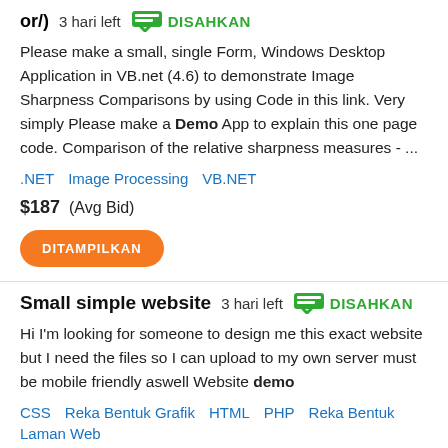or/)  3 hari left  DISAHKAN
Please make a small, single Form, Windows Desktop Application in VB.net (4.6) to demonstrate Image Sharpness Comparisons by using Code in this link. Very simply Please make a Demo App to explain this one page code. Comparison of the relative sharpness measures - ...
.NET   Image Processing   VB.NET
$187  (Avg Bid)
DITAMPILKAN
Small simple website  3 hari left  DISAHKAN
Hi I'm looking for someone to design me this exact website but I need the files so I can upload to my own server must be mobile friendly aswell Website demo
CSS   Reka Bentuk Grafik   HTML   PHP   Reka Bentuk Laman Web